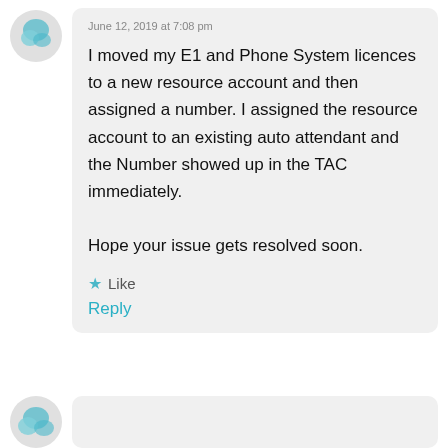June 12, 2019 at 7:08 pm
I moved my E1 and Phone System licences to a new resource account and then assigned a number. I assigned the resource account to an existing auto attendant and the Number showed up in the TAC immediately.

Hope your issue gets resolved soon.
★ Like
Reply